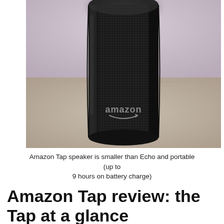[Figure (photo): Close-up photo of a cylindrical Amazon Tap speaker with black mesh fabric and the Amazon logo with arrow smile visible on the front, resting on a light wooden surface with a blurred light purple/grey background.]
Amazon Tap speaker is smaller than Echo and portable (up to 9 hours on battery charge)
Amazon Tap review: the Tap at a glance